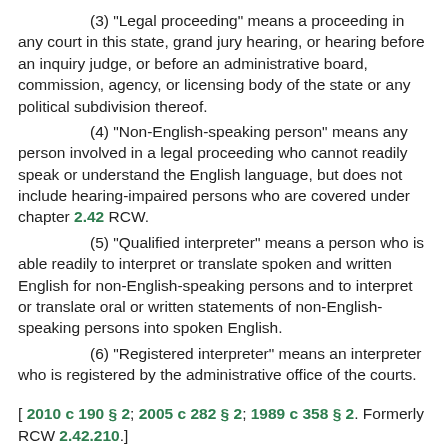(3) "Legal proceeding" means a proceeding in any court in this state, grand jury hearing, or hearing before an inquiry judge, or before an administrative board, commission, agency, or licensing body of the state or any political subdivision thereof.
(4) "Non-English-speaking person" means any person involved in a legal proceeding who cannot readily speak or understand the English language, but does not include hearing-impaired persons who are covered under chapter 2.42 RCW.
(5) "Qualified interpreter" means a person who is able readily to interpret or translate spoken and written English for non-English-speaking persons and to interpret or translate oral or written statements of non-English-speaking persons into spoken English.
(6) "Registered interpreter" means an interpreter who is registered by the administrative office of the courts.
[ 2010 c 190 § 2; 2005 c 282 § 2; 1989 c 358 § 2. Formerly RCW 2.42.210.]